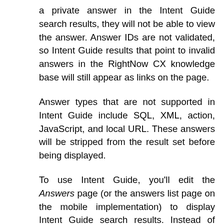a private answer in the Intent Guide search results, they will not be able to view the answer. Answer IDs are not validated, so Intent Guide results that point to invalid answers in the RightNow CX knowledge base will still appear as links on the page.
Answer types that are not supported in Intent Guide include SQL, XML, action, JavaScript, and local URL. These answers will be stripped from the result set before being displayed.
To use Intent Guide, you'll edit the Answers page (or the answers list page on the mobile implementation) to display Intent Guide search results. Instead of displaying individual answers